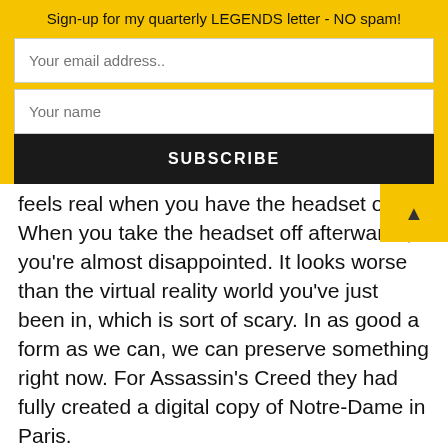Sign-up for my quarterly LEGENDS letter - NO spam!
[Figure (screenshot): Email subscription form with two text input fields ('Your email address..' and 'Your name') and a black SUBSCRIBE button on a yellow background]
feels real when you have the headset on. When you take the headset off afterwards, you're almost disappointed. It looks worse than the virtual reality world you've just been in, which is sort of scary. In as good a form as we can, we can preserve something right now. For Assassin's Creed they had fully created a digital copy of Notre-Dame in Paris.
If you enjoyed this